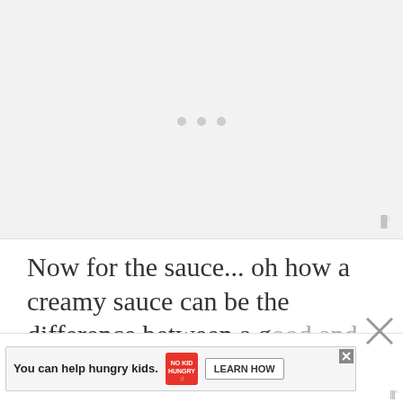[Figure (other): Video player placeholder with gray background, three loading dots in center, and Wistia watermark in bottom right]
Now for the sauce... oh how a creamy sauce can be the difference between a good and an OUTSTANDING meal dish
[Figure (other): Advertisement banner: 'You can help hungry kids.' with No Kid Hungry logo and LEARN HOW button, with close X button]